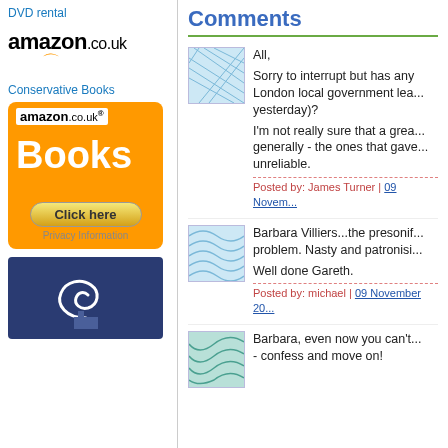DVD rental
[Figure (logo): amazon.co.uk logo with orange arrow]
Conservative Books
[Figure (illustration): Amazon.co.uk Books orange banner ad with Click here button and Privacy Information text]
[Figure (illustration): Dark blue box with white swirl logo]
Comments
[Figure (illustration): User avatar - blue crosshatch pattern]
All,
Sorry to interrupt but has any... London local government lea... yesterday)?
I'm not really sure that a grea... generally - the ones that gave... unreliable.
Posted by: James Turner | 09 Novem...
[Figure (illustration): User avatar - blue wave pattern]
Barbara Villiers...the presonif... problem. Nasty and patronisi...
Well done Gareth.
Posted by: michael | 09 November 20...
[Figure (illustration): User avatar - teal/green wave pattern]
Barbara, even now you can't... - confess and move on!